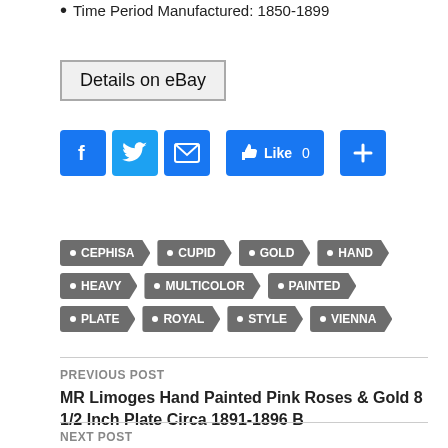Time Period Manufactured: 1850-1899
[Figure (other): Details on eBay button]
[Figure (other): Social sharing buttons: Facebook, Twitter, Email, Like 0, Plus]
CEPHISA
CUPID
GOLD
HAND
HEAVY
MULTICOLOR
PAINTED
PLATE
ROYAL
STYLE
VIENNA
PREVIOUS POST
MR Limoges Hand Painted Pink Roses & Gold 8 1/2 Inch Plate Circa 1891-1896 B
NEXT POST
23kt Genuine Gold Leaf Gilding Art Of Sign Painting Signwriting